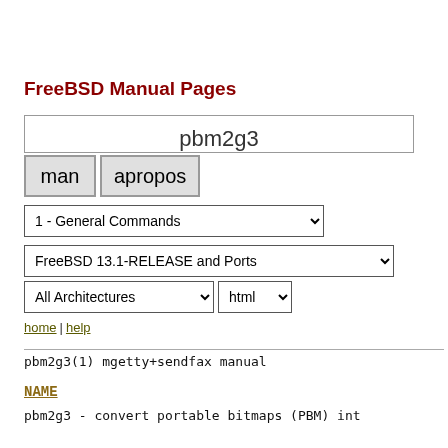FreeBSD Manual Pages
[Figure (screenshot): FreeBSD manual page search interface with text input showing 'pbm2g3', buttons for 'man' and 'apropos', dropdowns for section (1 - General Commands), release (FreeBSD 13.1-RELEASE and Ports), architecture (All Architectures), and format (html)]
home | help
pbm2g3(1)                                         mgetty+sendfax manual
NAME
pbm2g3 - convert portable bitmaps (PBM) int